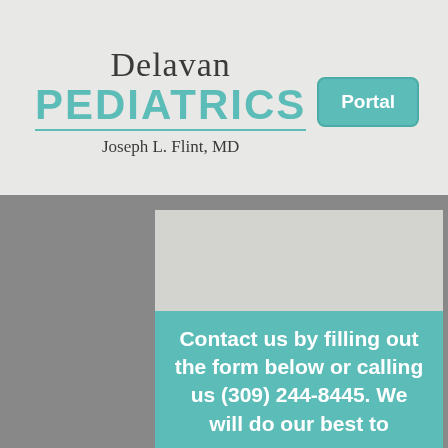Delavan PEDIATRICS Joseph L. Flint, MD | Portal
[Figure (other): Light gray content/form placeholder box]
Contact us by filling out the form below or calling us (309) 244-8445. We will do our best to